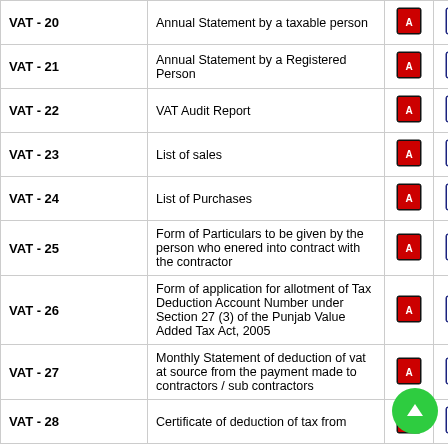| Form | Description | PDF | Word | Excel |
| --- | --- | --- | --- | --- |
| VAT - 20 | Annual Statement by a taxable person | [pdf] | [word] | [excel] |
| VAT - 21 | Annual Statement by a Registered Person | [pdf] | [word] | [excel] |
| VAT - 22 | VAT Audit Report | [pdf] | [word] | [excel] |
| VAT - 23 | List of sales | [pdf] | [word] | [excel] |
| VAT - 24 | List of Purchases | [pdf] | [word] | [excel] |
| VAT - 25 | Form of Particulars to be given by the person who enered into contract with the contractor | [pdf] | [word] | [excel] |
| VAT - 26 | Form of application for allotment of Tax Deduction Account Number under Section 27 (3) of the Punjab Value Added Tax Act, 2005 | [pdf] | [word] | [excel] |
| VAT - 27 | Monthly Statement of deduction of vat at source from the payment made to contractors / sub contractors | [pdf] | [word] | [excel] |
| VAT - 28 | Certificate of deduction of tax from ... | [pdf] | [word] | [excel] |